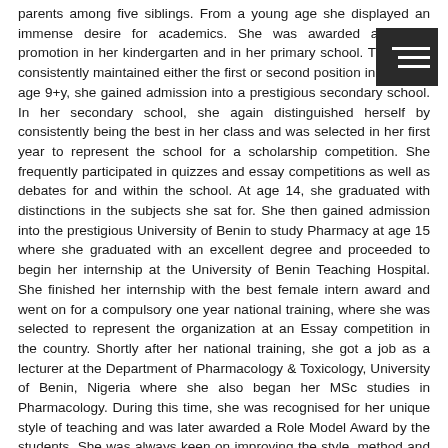parents among five siblings. From a young age she displayed an immense desire for academics. She was awarded a double promotion in her kindergarten and in her primary school. There she consistently maintained either the first or second position in class. At age 9+y, she gained admission into a prestigious secondary school. In her secondary school, she again distinguished herself by consistently being the best in her class and was selected in her first year to represent the school for a scholarship competition. She frequently participated in quizzes and essay competitions as well as debates for and within the school. At age 14, she graduated with distinctions in the subjects she sat for. She then gained admission into the prestigious University of Benin to study Pharmacy at age 15 where she graduated with an excellent degree and proceeded to begin her internship at the University of Benin Teaching Hospital. She finished her internship with the best female intern award and went on for a compulsory one year national training, where she was selected to represent the organization at an Essay competition in the country. Shortly after her national training, she got a job as a lecturer at the Department of Pharmacology & Toxicology, University of Benin, Nigeria where she also began her MSc studies in Pharmacology. During this time, she was recognised for her unique style of teaching and was later awarded a Role Model Award by the students. She was always keen on improving the style, method and scope of teaching and educational activities which she met on her employment. She worked tirelessly in the laboratory to improve her skills and knowledge. She was adept at intensive library and literature search. She was drawn to an intriguing yet interesting field of myometrial smooth muscle research (research on the womb), which was still budding at the time in her institution. Despite the intense conditions of raising her children and combining work and research, she pressured on.